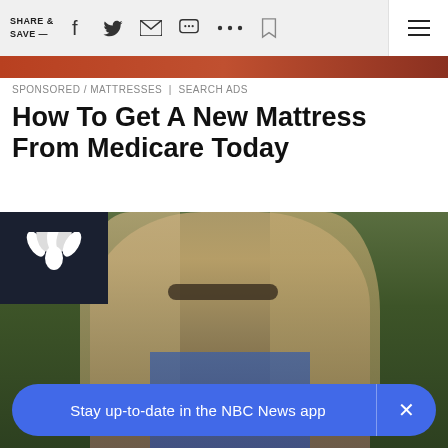SHARE & SAVE —
[Figure (photo): Orange/red gradient image strip at top of news article]
SPONSORED / MATTRESSES | SEARCH ADS
How To Get A New Mattress From Medicare Today
[Figure (photo): NBC News article page showing a woman with glasses and blonde hair outdoors, with NBC peacock logo in top-left corner of image]
Stay up-to-date in the NBC News app